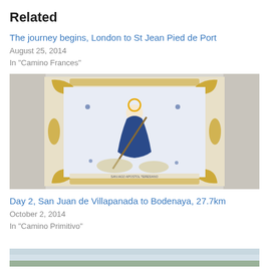Related
The journey begins, London to St Jean Pied de Port
August 25, 2014
In "Camino Frances"
[Figure (photo): A decorative ceramic tile depicting a pilgrim figure (Saint James/Santiago) in blue and white with gold baroque border, carrying a staff and wearing a cape with a halo.]
Day 2, San Juan de Villapanada to Bodenaya, 27.7km
October 2, 2014
In "Camino Primitivo"
[Figure (photo): Partial view of a landscape photo, showing a light blue sky and hints of green fields, cropped at the bottom of the page.]